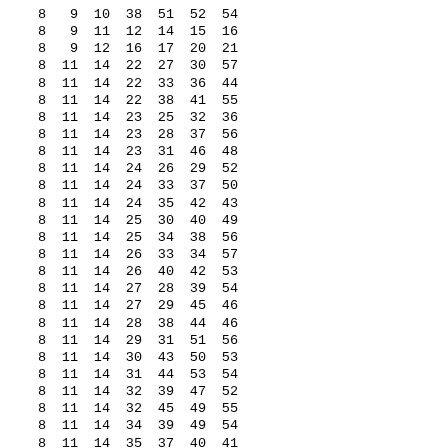| 8 | 9 | 10 | 38 | 51 | 52 | 54 |
| 8 | 9 | 11 | 12 | 14 | 15 | 16 |
| 8 | 9 | 12 | 16 | 17 | 20 | 21 |
| 8 | 11 | 14 | 22 | 27 | 30 | 57 |
| 8 | 11 | 14 | 22 | 33 | 36 | 44 |
| 8 | 11 | 14 | 22 | 38 | 41 | 55 |
| 8 | 11 | 14 | 23 | 25 | 32 | 36 |
| 8 | 11 | 14 | 23 | 28 | 37 | 56 |
| 8 | 11 | 14 | 23 | 31 | 46 | 48 |
| 8 | 11 | 14 | 24 | 26 | 29 | 52 |
| 8 | 11 | 14 | 24 | 33 | 37 | 50 |
| 8 | 11 | 14 | 24 | 35 | 42 | 43 |
| 8 | 11 | 14 | 25 | 30 | 40 | 49 |
| 8 | 11 | 14 | 25 | 34 | 38 | 56 |
| 8 | 11 | 14 | 26 | 33 | 34 | 57 |
| 8 | 11 | 14 | 26 | 40 | 42 | 53 |
| 8 | 11 | 14 | 27 | 28 | 39 | 54 |
| 8 | 11 | 14 | 27 | 29 | 45 | 46 |
| 8 | 11 | 14 | 28 | 38 | 44 | 46 |
| 8 | 11 | 14 | 29 | 31 | 51 | 56 |
| 8 | 11 | 14 | 30 | 43 | 50 | 53 |
| 8 | 11 | 14 | 31 | 44 | 53 | 54 |
| 8 | 11 | 14 | 32 | 39 | 47 | 52 |
| 8 | 11 | 14 | 32 | 45 | 49 | 55 |
| 8 | 11 | 14 | 34 | 39 | 49 | 54 |
| 8 | 11 | 14 | 35 | 37 | 40 | 41 |
| 8 | 11 | 14 | 35 | 47 | 48 | 55 |
| 8 | 11 | 14 | 36 | 48 | 50 | 51 |
| 8 | 11 | 14 | 41 | 43 | 45 | 52 |
| 8 | 11 | 14 | 42 | 47 | 51 | 57 |